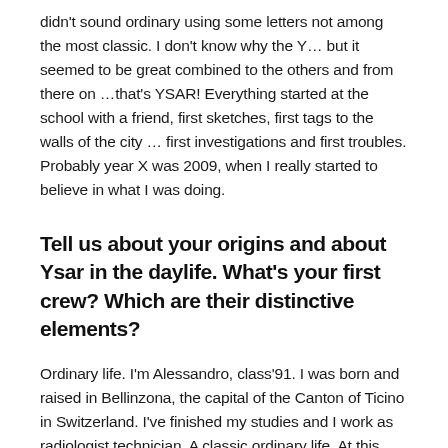didn't sound ordinary using some letters not among the most classic. I don't know why the Y… but it seemed to be great combined to the others and from there on …that's YSAR! Everything started at the school with a friend, first sketches, first tags to the walls of the city … first investigations and first troubles. Probably year X was 2009, when I really started to believe in what I was doing.
Tell us about your origins and about Ysar in the daylife. What's your first crew? Which are their distinctive elements?
Ordinary life. I'm Alessandro, class'91. I was born and raised in Bellinzona, the capital of the Canton of Ticino in Switzerland. I've finished my studies and I work as radiologist technician. A classic ordinary life. At this point I